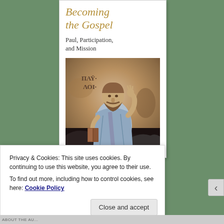Becoming the Gospel
Paul, Participation, and Mission
[Figure (photo): Ancient fresco painting of the Apostle Paul with Greek text ΠΑΥΛΟΙ, showing a bearded man in robes with hand raised]
Privacy & Cookies: This site uses cookies. By continuing to use this website, you agree to their use.
To find out more, including how to control cookies, see here: Cookie Policy
Close and accept